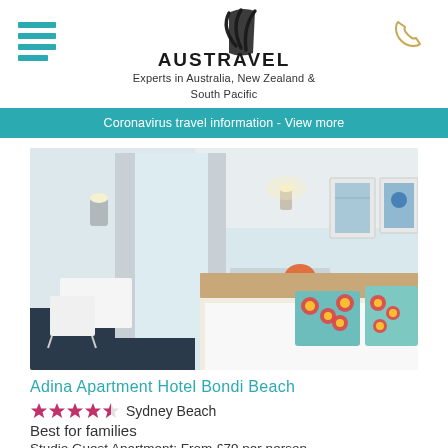[Figure (logo): Austravel logo with swoosh mark above text]
Experts in Australia, New Zealand & South Pacific
Coronavirus travel information - View more
[Figure (photo): Hotel room interior with white bed, colorful patterned pillows, sheer curtains, desk and artwork on wall]
Adina Apartment Hotel Bondi Beach
★★★★½  Sydney Beach
Best for families
Studio Guest Apartment: From £79 per person